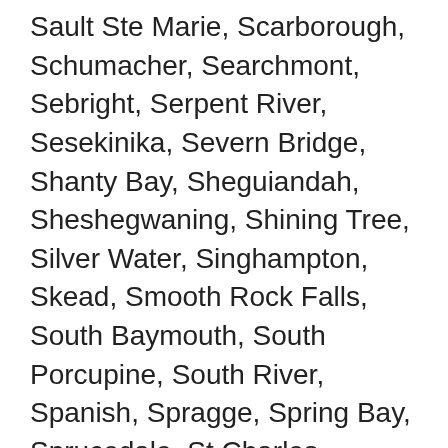Sault Ste Marie, Scarborough, Schumacher, Searchmont, Sebright, Serpent River, Sesekinika, Severn Bridge, Shanty Bay, Sheguiandah, Sheshegwaning, Shining Tree, Silver Water, Singhampton, Skead, Smooth Rock Falls, South Baymouth, South Porcupine, South River, Spanish, Spragge, Spring Bay, Sprucedale, St Charles, Stayner, Strickland, Sturgeon Falls, Sudbury, Sultan, Sunderland, Sundridge, Swastika, Tarzwell, Tehkummah, Temagami, Thessalon, Thorne, Thornloe, Thornton, Tilden Lake, Timmins, Torrance, Tory Hill, Trent River, Trout Creek, Tunis, Udora, Utopia, Utterson, Val Caron, Val Cote, Val Gagne, Val Rita, Val Therese, Verner, Victoria Harbour, Virginiatown, Wahnapitae, Walford Station, Warkworth, Warminster, Warren, Warsaw, Wasaga Beach, Washago, Waubaushene, Wawa, Webbwood, West Guilford, Westmeath, Whitefish...